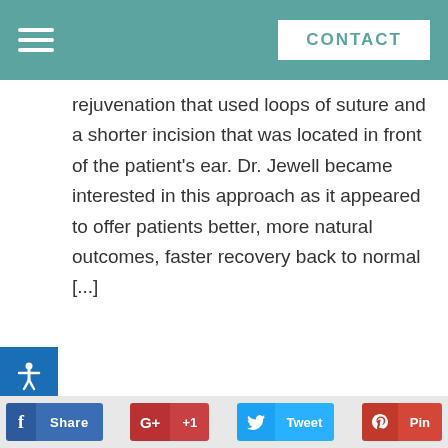CONTACT
rejuvenation that used loops of suture and a shorter incision that was located in front of the patient's ear. Dr. Jewell became interested in this approach as it appeared to offer patients better, more natural outcomes, faster recovery back to normal [...]
VIEW MORE POSTS
f Share G+ +1 Tweet Pin